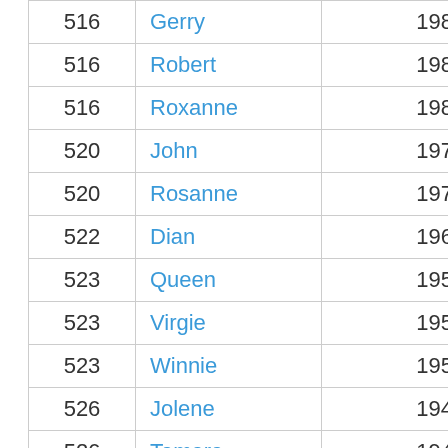| 516 | Gerry | 198 |
| 516 | Robert | 198 |
| 516 | Roxanne | 198 |
| 520 | John | 197 |
| 520 | Rosanne | 197 |
| 522 | Dian | 196 |
| 523 | Queen | 195 |
| 523 | Virgie | 195 |
| 523 | Winnie | 195 |
| 526 | Jolene | 194 |
| 526 | Tamara | 194 |